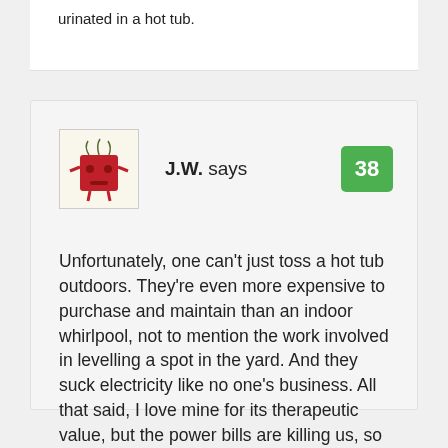urinated in a hot tub.
J.W. says
38
Unfortunately, one can't just toss a hot tub outdoors. They're even more expensive to purchase and maintain than an indoor whirlpool, not to mention the work involved in levelling a spot in the yard. And they suck electricity like no one's business. All that said, I love mine for its therapeutic value, but the power bills are killing us, so installing a